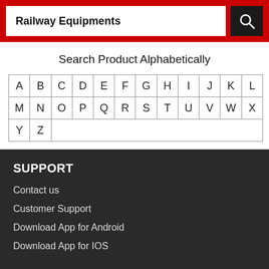Railway Equipments
Search Product Alphabetically
| A | B | C | D | E | F | G | H | I | J | K | L |
| M | N | O | P | Q | R | S | T | U | V | W | X |
| Y | Z |
SUPPORT
Contact us
Customer Support
Download App for Android
Download App for IOS